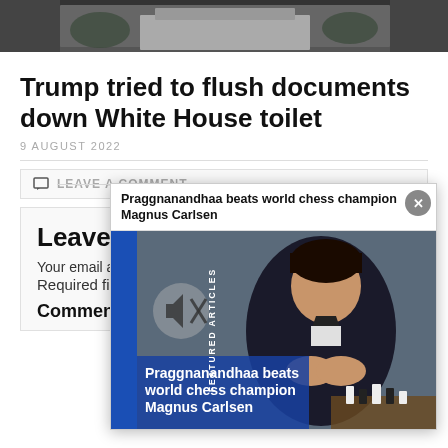[Figure (photo): Top banner image of a building (White House)]
Trump tried to flush documents down White House toilet
9 AUGUST 2022
LEAVE A COMMENT
Leave a Reply
Your email address will not be published.
Required fields are marked *
Comment *
[Figure (photo): Popup featured article: Praggnanandhaa beats world chess champion Magnus Carlsen — shows a young boy sitting at a chess board in a suit]